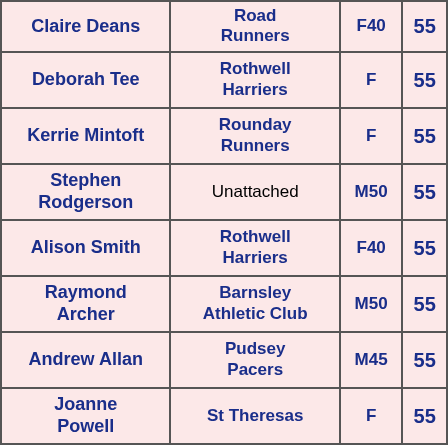| Name | Club | Category | Score |
| --- | --- | --- | --- |
| Claire Deans | Road Runners | F40 | 55 |
| Deborah Tee | Rothwell Harriers | F | 55 |
| Kerrie Mintoft | Rounday Runners | F | 55 |
| Stephen Rodgerson | Unattached | M50 | 55 |
| Alison Smith | Rothwell Harriers | F40 | 55 |
| Raymond Archer | Barnsley Athletic Club | M50 | 55 |
| Andrew Allan | Pudsey Pacers | M45 | 55 |
| Joanne Powell | St Theresas | F | 55 |